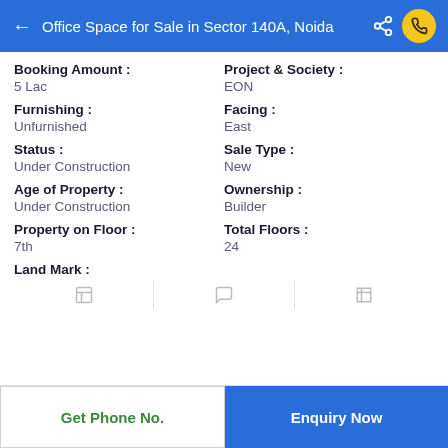Office Space for Sale in Sector 140A, Noida
Booking Amount :
5 Lac
Project & Society :
EON
Furnishing :
Unfurnished
Facing :
East
Status :
Under Construction
Sale Type :
New
Age of Property :
Under Construction
Ownership :
Builder
Property on Floor :
7th
Total Floors :
24
Land Mark :